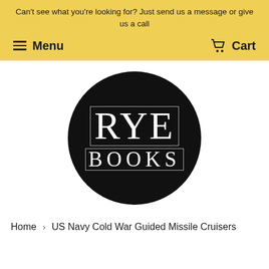Can't see what you're looking for? Just send us a message or give us a call
Menu | Cart
[Figure (logo): Rye Books circular logo — black circle with decorative serif text 'RYE' on top line and 'BOOKS' on bottom line, white outlined letters]
Home › US Navy Cold War Guided Missile Cruisers